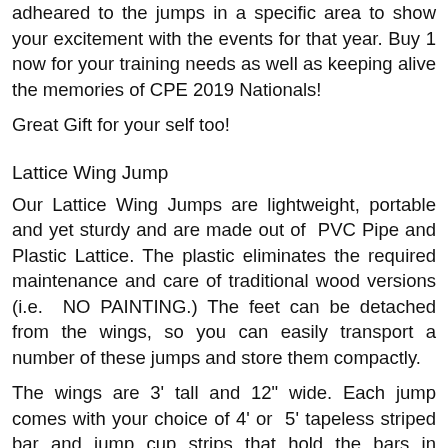adheared to the jumps in a specific area to show your excitement with the events for that year. Buy 1 now for your training needs as well as keeping alive the memories of CPE 2019 Nationals!
Great Gift for your self too!
Lattice Wing Jump
Our Lattice Wing Jumps are lightweight, portable and yet sturdy and are made out of PVC Pipe and Plastic Lattice. The plastic eliminates the required maintenance and care of traditional wood versions (i.e. NO PAINTING.) The feet can be detached from the wings, so you can easily transport a number of these jumps and store them compactly.
The wings are 3' tall and 12" wide. Each jump comes with your choice of 4' or 5' tapeless striped bar and jump cup strips that hold the bars in position every 2 inches from 4" to 36".